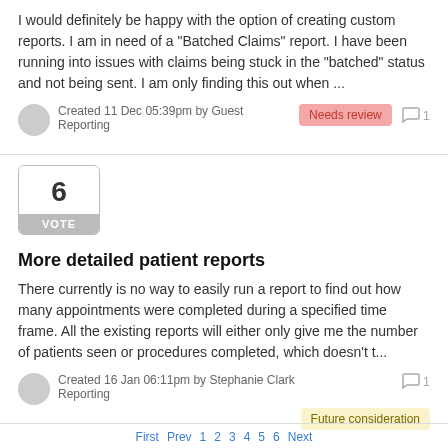I would definitely be happy with the option of creating custom reports. I am in need of a "Batched Claims" report. I have been running into issues with claims being stuck in the "batched" status and not being sent. I am only finding this out when ...
Created 11 Dec 05:39pm by Guest
Reporting
Needs review
1
[Figure (other): Vote box showing number 6 with VOTE label below]
More detailed patient reports
There currently is no way to easily run a report to find out how many appointments were completed during a specified time frame. All the existing reports will either only give me the number of patients seen or procedures completed, which doesn't t...
Created 16 Jan 06:11pm by Stephanie Clark
Reporting
1
Future consideration
First  Prev  1  2  3  4  5  6  Next